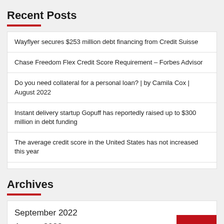Recent Posts
Wayflyer secures $253 million debt financing from Credit Suisse
Chase Freedom Flex Credit Score Requirement – Forbes Advisor
Do you need collateral for a personal loan? | by Camila Cox | August 2022
Instant delivery startup Gopuff has reportedly raised up to $300 million in debt funding
The average credit score in the United States has not increased this year
Archives
September 2022
August 2022